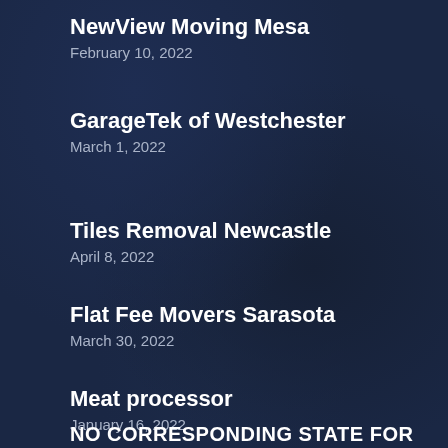NewView Moving Mesa
February 10, 2022
GarageTek of Westchester
March 1, 2022
Tiles Removal Newcastle
April 8, 2022
Flat Fee Movers Sarasota
March 30, 2022
Meat processor
January 16, 2022
NO CORRESPONDING STATE FOR